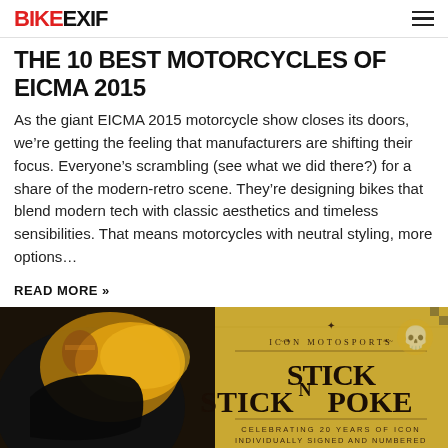BIKEEXIF
THE 10 BEST MOTORCYCLES OF EICMA 2015
As the giant EICMA 2015 motorcycle show closes its doors, we’re getting the feeling that manufacturers are shifting their focus. Everyone’s scrambling (see what we did there?) for a share of the modern-retro scene. They’re designing bikes that blend modern tech with classic aesthetics and timeless sensibilities. That means motorcycles with neutral styling, more options…
READ MORE »
[Figure (photo): Bottom banner image showing a tattooed motorcycle helmet on the left and an Icon Motosports 'Stick N Poke' promotional graphic on the right with text: ICON MOTOSPORTS STICK N POKE - CELEBRATING 20 YEARS OF ICON INDIVIDUALLY SIGNED AND NUMBERED SO LIMITED IT'S PROBABLY SOLD OUT ALREADY.]